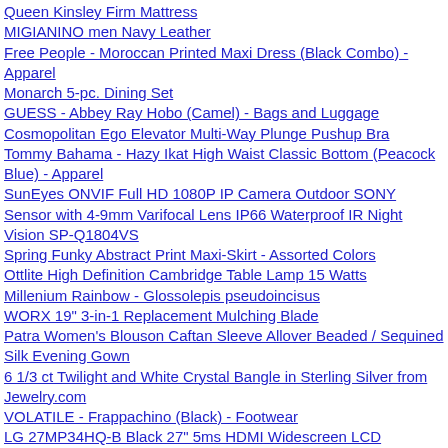Queen Kinsley Firm Mattress
MIGIANINO men Navy Leather
Free People - Moroccan Printed Maxi Dress (Black Combo) - Apparel
Monarch 5-pc. Dining Set
GUESS - Abbey Ray Hobo (Camel) - Bags and Luggage
Cosmopolitan Ego Elevator Multi-Way Plunge Pushup Bra
Tommy Bahama - Hazy Ikat High Waist Classic Bottom (Peacock Blue) - Apparel
SunEyes ONVIF Full HD 1080P IP Camera Outdoor SONY Sensor with 4-9mm Varifocal Lens IP66 Waterproof IR Night Vision SP-Q1804VS
Spring Funky Abstract Print Maxi-Skirt - Assorted Colors
Ottlite High Definition Cambridge Table Lamp 15 Watts
Millenium Rainbow - Glossolepis pseudoincisus
WORX 19" 3-in-1 Replacement Mulching Blade
Patra Women's Blouson Caftan Sleeve Allover Beaded / Sequined Silk Evening Gown
6 1/3 ct Twilight and White Crystal Bangle in Sterling Silver from Jewelry.com
VOLATILE - Frappachino (Black) - Footwear
LG 27MP34HQ-B Black 27" 5ms HDMI Widescreen LCD Monitor200 cd/m2 DFC 5,000,000:1 (1000:1)
Minka Lavery 6352-177 Illuminati Bronze Illuminati 2 Light Bathroom Vanity Light from the Illuminati Collection ML 6352